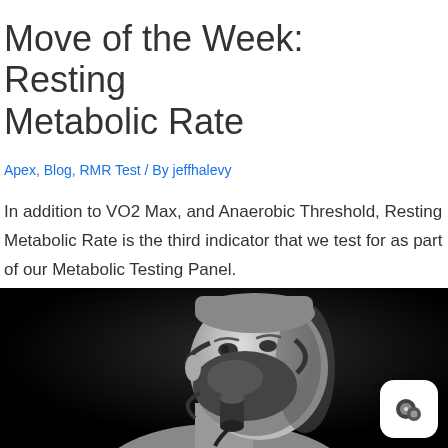Move of the Week: Resting Metabolic Rate
Apex, Blog, RMR Test / By jeffhalevy
In addition to VO2 Max, and Anaerobic Threshold, Resting Metabolic Rate is the third indicator that we test for as part of our Metabolic Testing Panel.
[Figure (photo): Black and white photo of a man wearing a metabolic testing mask/breathing apparatus over his nose and mouth, shown from the shoulders up against a dark background.]